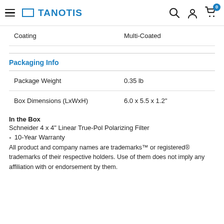TANOTIS
| Attribute | Value |
| --- | --- |
| Coating | Multi-Coated |
| Package Weight | 0.35 lb |
| Box Dimensions (LxWxH) | 6.0 x 5.5 x 1.2" |
Packaging Info
In the Box
Schneider 4 x 4" Linear True-Pol Polarizing Filter
10-Year Warranty
All product and company names are trademarks™ or registered® trademarks of their respective holders. Use of them does not imply any affiliation with or endorsement by them.